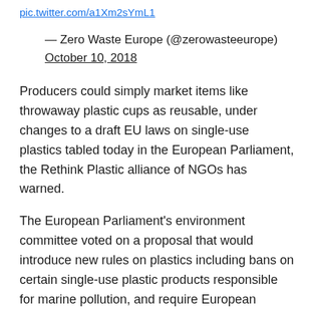pic.twitter.com/…[truncated URL]
— Zero Waste Europe (@zerowasteeurope) October 10, 2018
Producers could simply market items like throwaway plastic cups as reusable, under changes to a draft EU laws on single-use plastics tabled today in the European Parliament, the Rethink Plastic alliance of NGOs has warned.
The European Parliament's environment committee voted on a proposal that would introduce new rules on plastics including bans on certain single-use plastic products responsible for marine pollution, and require European governments to set reduction targets for others.